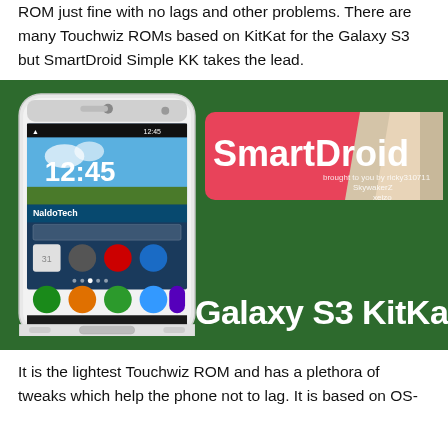ROM just fine with no lags and other problems. There are many Touchwiz ROMs based on KitKat for the Galaxy S3 but SmartDroid Simple KK takes the lead.
[Figure (photo): Promotional image on a dark green background showing a Samsung Galaxy S3 smartphone mockup on the left displaying the home screen at 12:45, with the NaldoTech watermark. On the right is the SmartDroid logo badge (pink/coral and gray/beige colors) with text 'brought to you by ricky310711, SkywakerZ, xeizo'. Below in large white bold text reads 'Galaxy S3 KitKa' (partially cropped).]
It is the lightest Touchwiz ROM and has a plethora of tweaks which help the phone not to lag. It is based on OS-